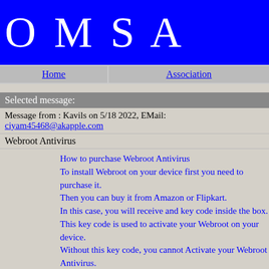OMSA
Home | Association
Selected message:
Message from : Kavils on 5/18 2022, EMail: ciyam45468@akapple.com
Webroot Antivirus
How to purchase Webroot Antivirus
To install Webroot on your device first you need to purchase it.
Then you can buy it from Amazon or Flipkart.
In this case, you will receive and key code inside the box.
This key code is used to activate your Webroot on your device.
Without this key code, you cannot Activate your Webroot Antivirus.
Then you can also buy to Webroot.com/safe Antivirus from their offic
Then click on the “protect my home” button.
You will see three different packages offered by Webroot.
Each package has a validity of one year.
The difference between these packages is the number of devices tha
You can protect 5, 3, and 1 device with the help of these packages.
Pricing details of each package are given right below it.
Then after selecting the package, click add to cart option below that
https://uswebroot.com/